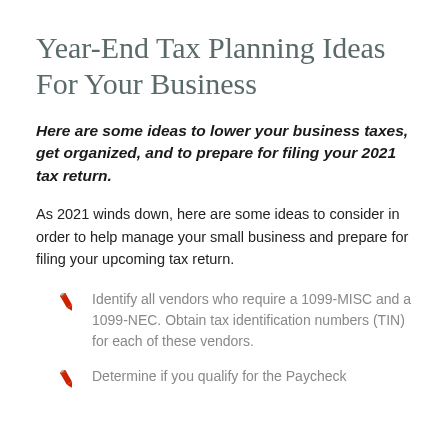Year-End Tax Planning Ideas For Your Business
Here are some ideas to lower your business taxes, get organized, and to prepare for filing your 2021 tax return.
As 2021 winds down, here are some ideas to consider in order to help manage your small business and prepare for filing your upcoming tax return.
Identify all vendors who require a 1099-MISC and a 1099-NEC. Obtain tax identification numbers (TIN) for each of these vendors.
Determine if you qualify for the Paycheck